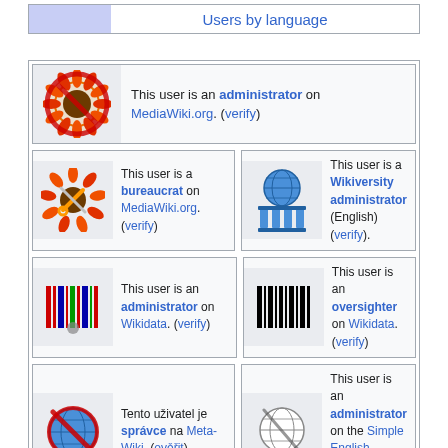|  | Users by language |
This user is an administrator on MediaWiki.org. (verify)
This user is a bureaucrat on MediaWiki.org. (verify)
This user is a Wikiversity administrator (English) (verify).
This user is an administrator on Wikidata. (verify)
This user is an oversighter on Wikidata. (verify)
Tento uživatel je správce na Meta-Wiki. (ověřit)
This user is an administrator on the Simple English Wikipedia. (verify)
This user is an administrator on the English Wikiquote. (verify)